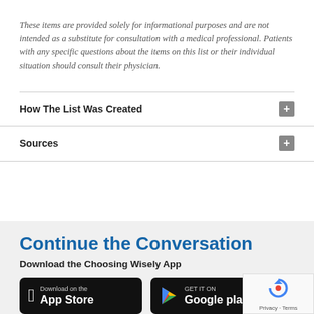These items are provided solely for informational purposes and are not intended as a substitute for consultation with a medical professional. Patients with any specific questions about the items on this list or their individual situation should consult their physician.
How The List Was Created
Sources
Continue the Conversation
Download the Choosing Wisely App